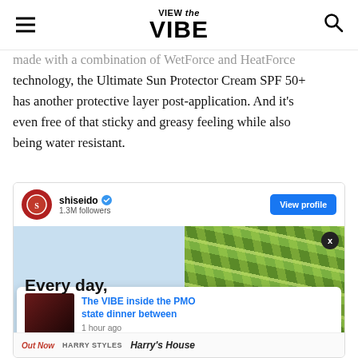VIEW the VIBE
made with a combination of WetForce and HeatForce technology, the Ultimate Sun Protector Cream SPF 50+ has another protective layer post-application. And it's even free of that sticky and greasy feeling while also being water resistant.
[Figure (screenshot): Instagram embed for shiseido account showing 1.3M followers with a View profile button and images showing 'Every day,' text over a light blue background and green palm leaves on the right side. A notification popup shows 'The VIBE inside the PMO state dinner between' with timestamp '1 hour ago'. Bottom strip shows 'Out Now' and 'HARRY STYLES Harry's House' text.]